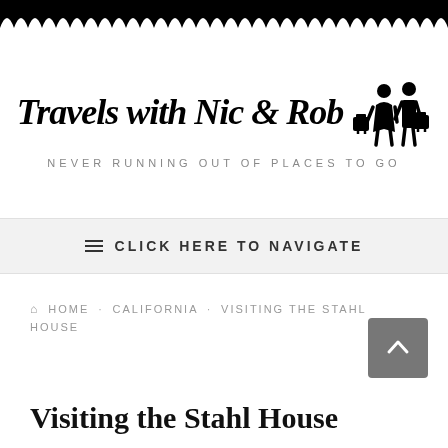[Figure (illustration): Decorative scalloped black border at top of page]
Travels with Nic & Rob
NEVER RUNNING OUT OF PLACES TO GO
≡ CLICK HERE TO NAVIGATE
🏠 HOME · CALIFORNIA · VISITING THE STAHL HOUSE
Visiting the Stahl House